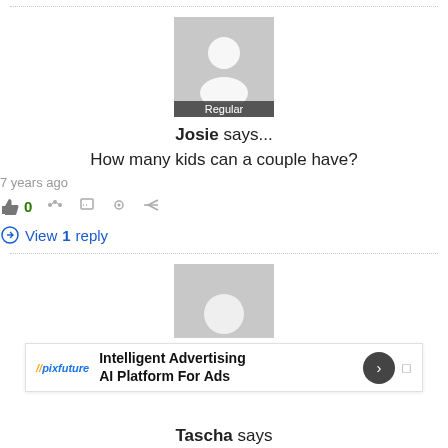[Figure (illustration): Generic user avatar placeholder (gray square with white silhouette) with 'Regular' label at bottom]
Josie says...
How many kids can a couple have?
7 years ago
👍 0  share  flag  link  reply
View 1 reply
[Figure (illustration): Second generic user avatar placeholder (gray square with white circle)]
Tascha says
[Figure (other): //pixfuture advertisement banner: Intelligent Advertising AI Platform For Ads]